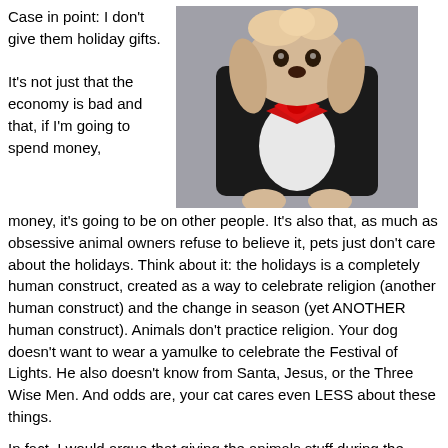Case in point: I don't give them holiday gifts.
[Figure (photo): A small dog dressed in a black jacket with a red bow/ribbon, appearing to be in a holiday costume. The dog has light-colored fur on its face and paws.]
It's not just that the economy is bad and that, if I'm going to spend money, it's going to be on other people. It's also that, as much as obsessive animal owners refuse to believe it, pets just don't care about the holidays. Think about it: the holidays is a completely human construct, created as a way to celebrate religion (another human construct) and the change in season (yet ANOTHER human construct). Animals don't practice religion. Your dog doesn't want to wear a yamulke to celebrate the Festival of Lights. He also doesn't know from Santa, Jesus, or the Three Wise Men. And odds are, your cat cares even LESS about these things.
In fact, I would argue that giving the animals stuff during the holidays could be cruel. Case in point? My father had this wonderful dog. He decided on a date for the dog's "birthday."